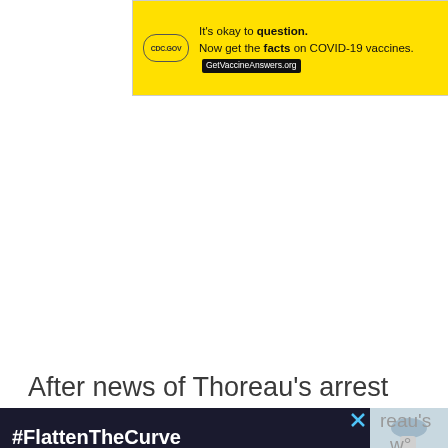[Figure (other): Yellow advertisement banner: 'It's okay to question. Now get the facts on COVID-19 vaccines. GetVaccineAnswers.org']
[Figure (other): Dark circular scroll-to-top button with upward arrow icon]
After news of Thoreau's arrest spread throughout the town, an unidentified woman
[Figure (other): Bottom advertisement banner with #FlattenTheCurve text and handwashing image]